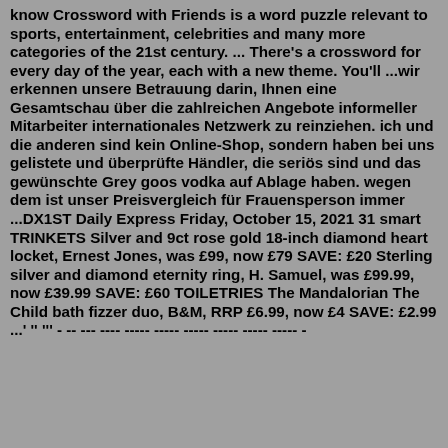know Crossword with Friends is a word puzzle relevant to sports, entertainment, celebrities and many more categories of the 21st century. ... There's a crossword for every day of the year, each with a new theme. You'll ...wir erkennen unsere Betrauung darin, Ihnen eine Gesamtschau über die zahlreichen Angebote informeller Mitarbeiter internationales Netzwerk zu reinziehen. ich und die anderen sind kein Online-Shop, sondern haben bei uns gelistete und überprüfte Händler, die seriös sind und das gewünschte Grey goos vodka auf Ablage haben. wegen dem ist unser Preisvergleich für Frauensperson immer ...DX1ST Daily Express Friday, October 15, 2021 31 smart TRINKETS Silver and 9ct rose gold 18-inch diamond heart locket, Ernest Jones, was £99, now £79 SAVE: £20 Sterling silver and diamond eternity ring, H. Samuel, was £99.99, now £39.99 SAVE: £60 TOILETRIES The Mandalorian The Child bath fizzer duo, B&M, RRP £6.99, now £4 SAVE: £2.99 ...' '' ''' - -- --- ---- ----- ----- ----- ----- ----- -----  -